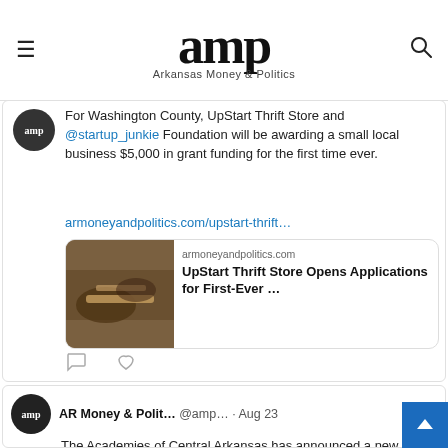amp — Arkansas Money & Politics
For Washington County, UpStart Thrift Store and @startup_junkie Foundation will be awarding a small local business $5,000 in grant funding for the first time ever.
armoneyandpolitics.com/upstart-thrift…
[Figure (screenshot): Link preview card showing armoneyandpolitics.com with image of hands and title 'UpStart Thrift Store Opens Applications for First-Ever …']
AR Money & Polit… @amp… · Aug 23
The Academies of Central Arkansas has announced a new partnership between Baptist Health and Little Rock Southwest Magnet High School to establish a new Academy of Medical Science.